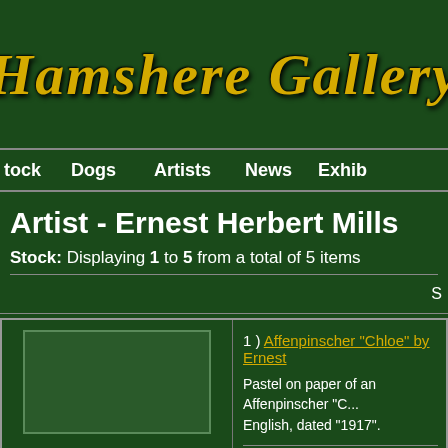Hamshere Gallery
Stock   Dogs   Artists   News   Exhib
Artist - Ernest Herbert Mills
Stock: Displaying 1 to 5 from a total of 5 items
S
1 ) Affenpinscher "Chloe" by Ernest
Pastel on paper of an Affenpinscher "C... English, dated "1917".